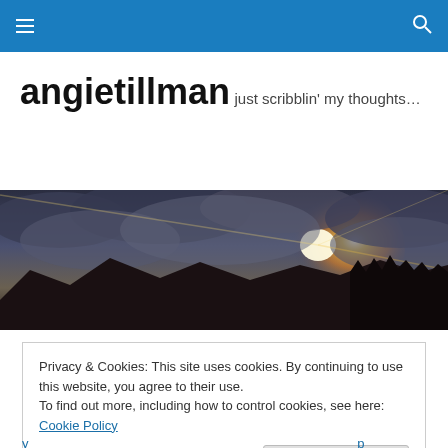Navigation bar with menu icon and search icon
angietillman
just scribblin' my thoughts…
[Figure (photo): Panoramic sunset photo with dramatic clouds, silhouetted mountains and trees, and bright light breaking through clouds on the right side]
Privacy & Cookies: This site uses cookies. By continuing to use this website, you agree to their use.
To find out more, including how to control cookies, see here: Cookie Policy
Close and accept